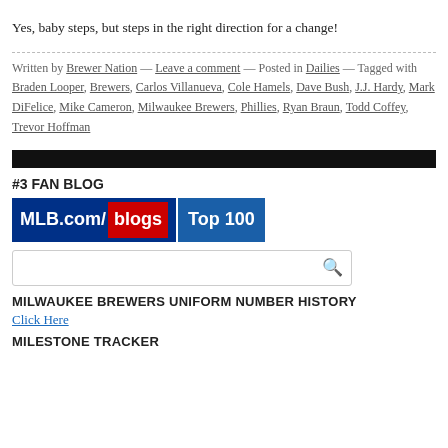Yes, baby steps, but steps in the right direction for a change!
Written by Brewer Nation — Leave a comment — Posted in Dailies — Tagged with Braden Looper, Brewers, Carlos Villanueva, Cole Hamels, Dave Bush, J.J. Hardy, Mark DiFelice, Mike Cameron, Milwaukee Brewers, Phillies, Ryan Braun, Todd Coffey, Trevor Hoffman
[Figure (other): Black horizontal bar divider]
#3 FAN BLOG
[Figure (logo): MLB.com/blogs Top 100 logo badge]
[Figure (other): Search bar with magnifying glass icon]
MILWAUKEE BREWERS UNIFORM NUMBER HISTORY
Click Here
MILESTONE TRACKER